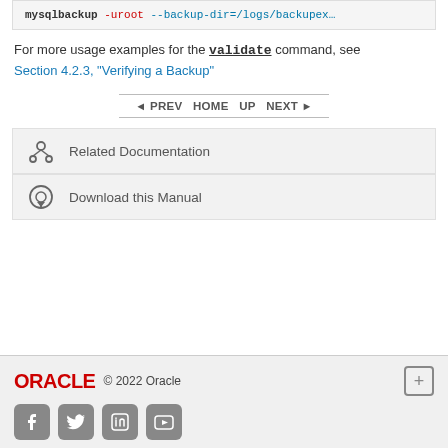mysqlbackup -uroot --backup-dir=/logs/backupex
For more usage examples for the validate command, see Section 4.2.3, "Verifying a Backup"
◄ PREV   HOME   UP   NEXT ►
Related Documentation
Download this Manual
© 2022 Oracle